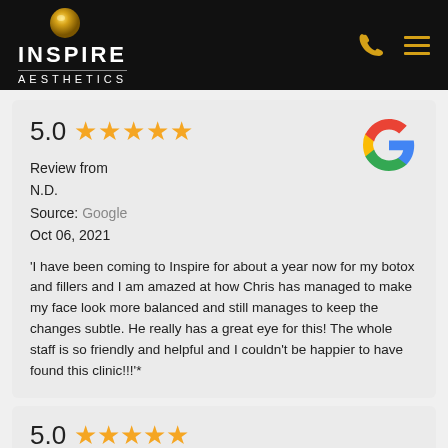[Figure (logo): Inspire Aesthetics logo with gold sphere icon on black header background]
5.0 ★★★★★
Review from
N.D.
Source: Google
Oct 06, 2021
[Figure (logo): Google 'G' logo in brand colors]
'I have been coming to Inspire for about a year now for my botox and fillers and I am amazed at how Chris has managed to make my face look more balanced and still manages to keep the changes subtle. He really has a great eye for this! The whole staff is so friendly and helpful and I couldn't be happier to have found this clinic!!!"*
5.0 ★★★★★